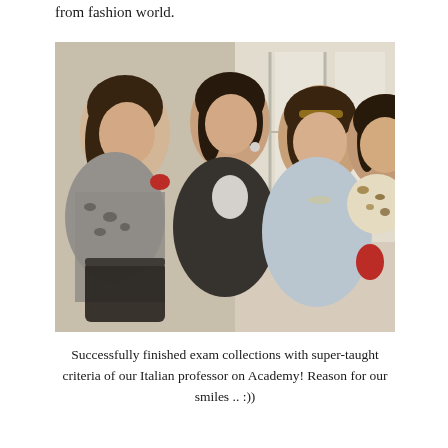from fashion world.
[Figure (photo): Four young women smiling and posing together indoors near large windows. They appear to be students, dressed casually. One woman on the left wears a patterned top and holds a dark bag. The others are wearing dark and light tops. The setting looks like a classroom or academic building.]
Successfully finished exam collections with super-taught criteria of our Italian professor on Academy! Reason for our smiles .. :))